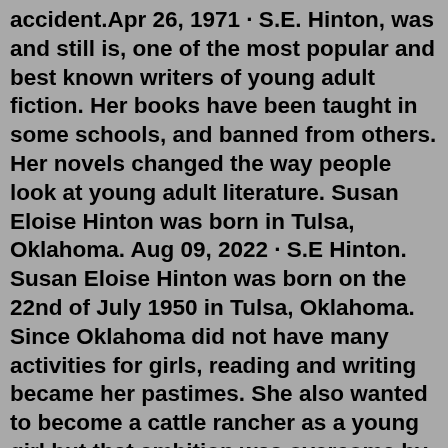accident.Apr 26, 1971 · S.E. Hinton, was and still is, one of the most popular and best known writers of young adult fiction. Her books have been taught in some schools, and banned from others. Her novels changed the way people look at young adult literature. Susan Eloise Hinton was born in Tulsa, Oklahoma. Aug 09, 2022 · S.E Hinton. Susan Eloise Hinton was born on the 22nd of July 1950 in Tulsa, Oklahoma. Since Oklahoma did not have many activities for girls, reading and writing became her pastimes. She also wanted to become a cattle rancher as a young girl but that ambition was overcome by her love for writing. Her stories written in the beginning were mostly ... The Complete SE Hinton (Books/Films) show list info Everything written by Susan Eloise Hinton, either for the screen or the page, plus all of her works that have been adapted for the big screen. Susan Eloise Hinton was born on July 22, 1950 in Tulsa, Oklahoma. She began writing The Outsiders novel in 1965 as a teenager while she still was at high school. She was inspired by two rival...